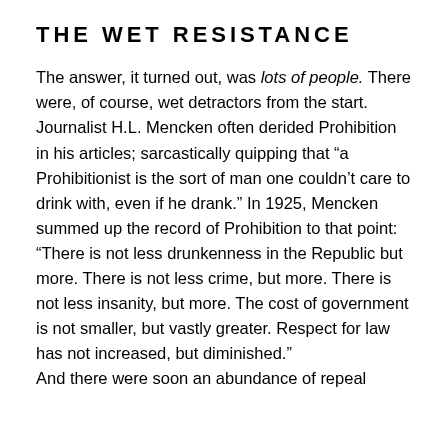THE WET RESISTANCE
The answer, it turned out, was lots of people. There were, of course, wet detractors from the start. Journalist H.L. Mencken often derided Prohibition in his articles; sarcastically quipping that “a Prohibitionist is the sort of man one couldn’t care to drink with, even if he drank.” In 1925, Mencken summed up the record of Prohibition to that point: “There is not less drunkenness in the Republic but more. There is not less crime, but more. There is not less insanity, but more. The cost of government is not smaller, but vastly greater. Respect for law has not increased, but diminished.” And there were soon an abundance of repeal